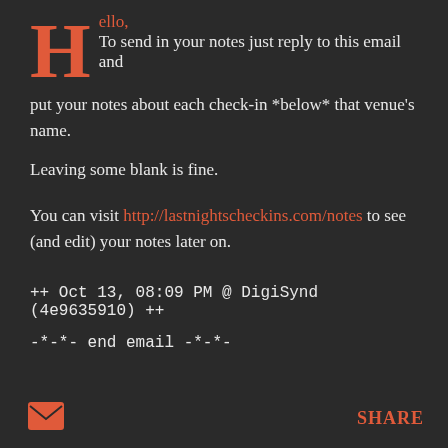Hello, To send in your notes just reply to this email and put your notes about each check-in *below* that venue's name. Leaving some blank is fine. You can visit http://lastnightscheckins.com/notes to see (and edit) your notes later on.
++ Oct 13, 08:09 PM @ DigiSynd (4e9635910) ++
-*-*- end email -*-*-
SHARE